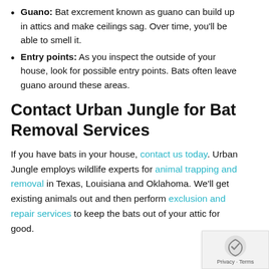Guano: Bat excrement known as guano can build up in attics and make ceilings sag. Over time, you'll be able to smell it.
Entry points: As you inspect the outside of your house, look for possible entry points. Bats often leave guano around these areas.
Contact Urban Jungle for Bat Removal Services
If you have bats in your house, contact us today. Urban Jungle employs wildlife experts for animal trapping and removal in Texas, Louisiana and Oklahoma. We'll get existing animals out and then perform exclusion and repair services to keep the bats out of your attic for good.